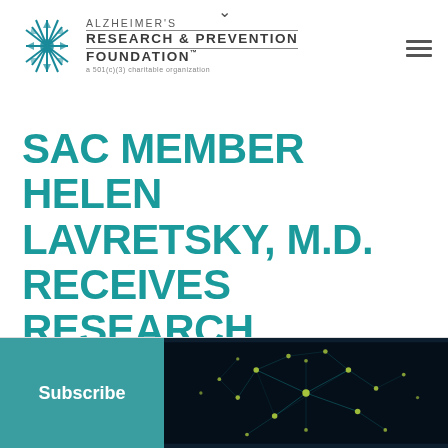[Figure (logo): Alzheimer's Research & Prevention Foundation logo with starburst icon and text including 'a 501(c)(3) charitable organization']
SAC MEMBER HELEN LAVRETSKY, M.D. RECEIVES RESEARCH AWARDS
Subscribe
[Figure (photo): Dark image of a glowing neural network or brain illustration with yellow/green node points connected by teal lines on a black background]